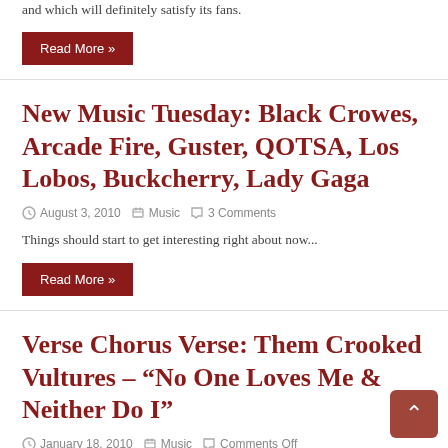and which will definitely satisfy its fans.
Read More »
New Music Tuesday: Black Crowes, Arcade Fire, Guster, QOTSA, Los Lobos, Buckcherry, Lady Gaga
August 3, 2010  Music  3 Comments
Things should start to get interesting right about now...
Read More »
Verse Chorus Verse: Them Crooked Vultures – "No One Loves Me & Neither Do I"
January 18, 2010  Music  Comments Off
It ain't no sin to be glad you're alive...